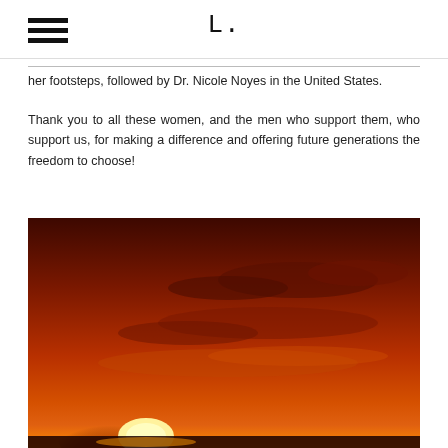≡   L.
her footsteps, followed by Dr. Nicole Noyes in the United States.
Thank you to all these women, and the men who support them, who support us, for making a difference and offering future generations the freedom to choose!
[Figure (photo): A dramatic sunset photograph showing a dark orange-red sky with clouds, a bright sun visible near the horizon casting warm light.]